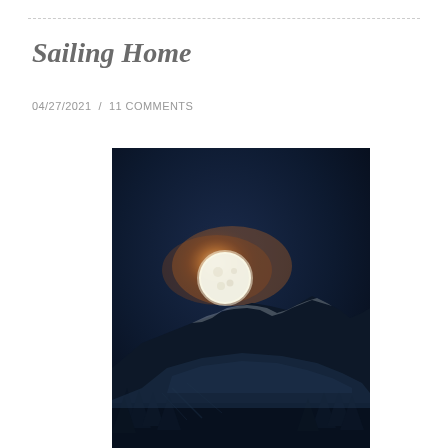Sailing Home
04/27/2021  /  11 COMMENTS
[Figure (photo): Full moon rising over snow-covered mountain peaks at night. The moon is bright white with a warm orange/amber halo glow surrounding it against a deep dark blue night sky. Snow-covered mountain ridgeline in the middle ground, with dark coniferous trees visible at the bottom.]